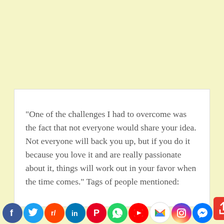“One of the challenges I had to overcome was the fact that not everyone would share your idea. Not everyone will back you up, but if you do it because you love it and are really passionate about it, things will work out in your favor when the time comes.” Tags of people mentioned:
[Figure (infographic): Social media sharing icons row: Facebook (blue), Twitter (light blue), Reddit (orange-red), LinkedIn (dark blue), Pinterest (red), WhatsApp (green), YouTube (red), Gmail (white/red), Instagram (gradient), Messenger (blue), Yahoo (purple). Plus a red share/upload button.]